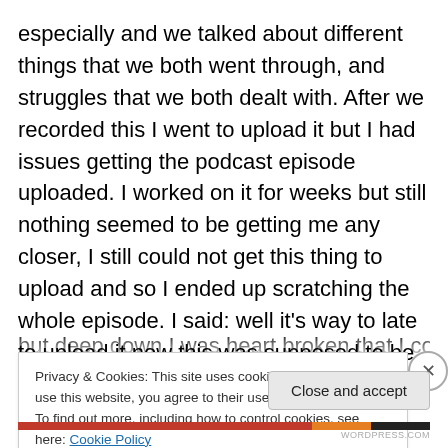especially and we talked about different things that we both went through, and struggles that we both dealt with. After we recorded this I went to upload it but I had issues getting the podcast episode uploaded. I worked on it for weeks but still nothing seemed to be getting me any closer, I still could not get this thing to upload and so I ended up scratching the whole episode. I said: well it's way to late to upload it now this was supposed to be for ADA 30th anniversary but it's now a month past the anniversary so oh well I guess it wasn't meant to be heard, but deep down I was heart broken that I couldn't fix this
Privacy & Cookies: This site uses cookies. By continuing to use this website, you agree to their use.
To find out more, including how to control cookies, see here: Cookie Policy
Close and accept